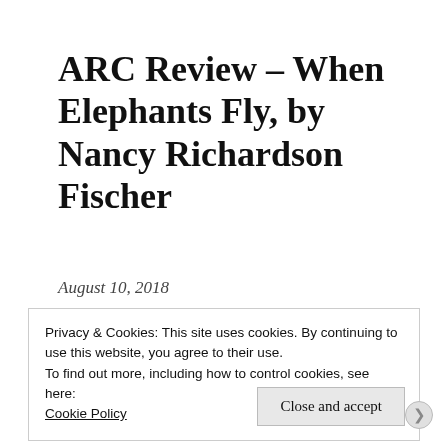ARC Review – When Elephants Fly, by Nancy Richardson Fischer
August 10, 2018
Jenna M
2 Comments
Privacy & Cookies: This site uses cookies. By continuing to use this website, you agree to their use.
To find out more, including how to control cookies, see here: Cookie Policy